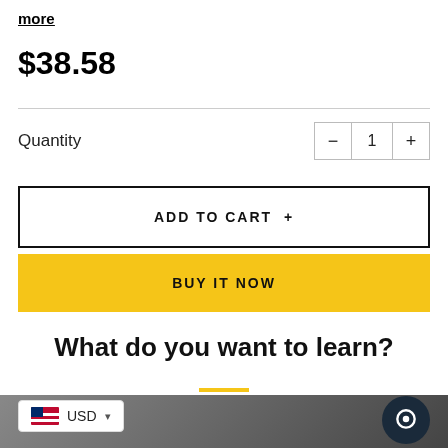more
$38.58
Quantity
ADD TO CART +
BUY IT NOW
What do you want to learn?
[Figure (photo): Bottom section showing a person, partially visible, with a yellow underline accent under the heading]
USD